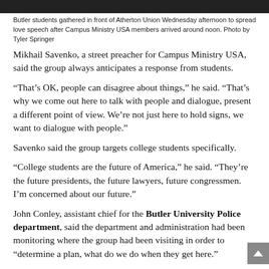[Figure (photo): Photo strip at top of page showing Butler students gathered in front of Atherton Union]
Butler students gathered in front of Atherton Union Wednesday afternoon to spread love speech after Campus Ministry USA members arrived around noon. Photo by Tyler Springer
Mikhail Savenko, a street preacher for Campus Ministry USA, said the group always anticipates a response from students.
“That’s OK, people can disagree about things,” he said. “That’s why we come out here to talk with people and dialogue, present a different point of view. We’re not just here to hold signs, we want to dialogue with people.”
Savenko said the group targets college students specifically.
“College students are the future of America,” he said. “They’re the future presidents, the future lawyers, future congressmen. I’m concerned about our future.”
John Conley, assistant chief for the Butler University Police department, said the department and administration had been monitoring where the group had been visiting in order to “determine a plan, what do we do when they get here.”
“We didn’t know they would be here today,” he said. “We